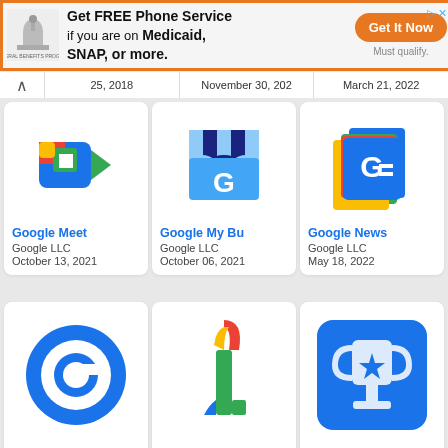[Figure (screenshot): Advertisement banner: Get FREE Phone Service if you are on Medicaid, SNAP, or more. Federal Benefits Program logo. Get It Now button. Must qualify.]
25, 2018	November 30, 202	March 21, 2022
[Figure (logo): Google Meet app icon]
Google Meet
Google LLC
October 13, 2021
[Figure (logo): Google My Business app icon]
Google My Bu
Google LLC
October 06, 2021
[Figure (logo): Google News app icon]
Google News
Google LLC
May 18, 2022
[Figure (logo): Google One app icon (large G circle)]
[Figure (logo): Google One app icon (number 1 in Google colors)]
[Figure (logo): Google Opinion Rewards app icon (trophy with star on blue background)]